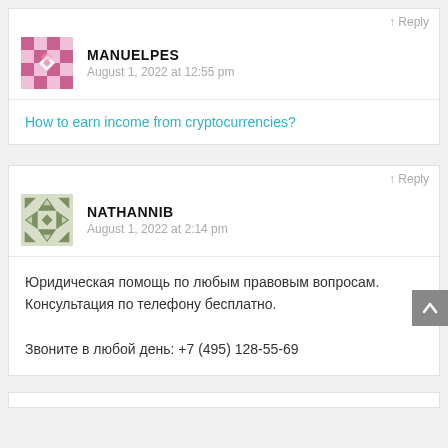↑ Reply
MANUELPES
August 1, 2022 at 12:55 pm
How to earn income from cryptocurrencies?
↑ Reply
NATHANNIB
August 1, 2022 at 2:14 pm
Юридическая помощь по любым правовым вопросам. Консультация по телефону бесплатно.

Звоните в любой день: +7 (495) 128-55-69